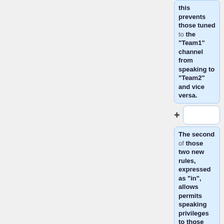this prevents those tuned to the "Team1" channel from speaking to "Team2" and vice versa.
+
The second of those two new rules, expressed as "in", allows permits speaking privileges to those